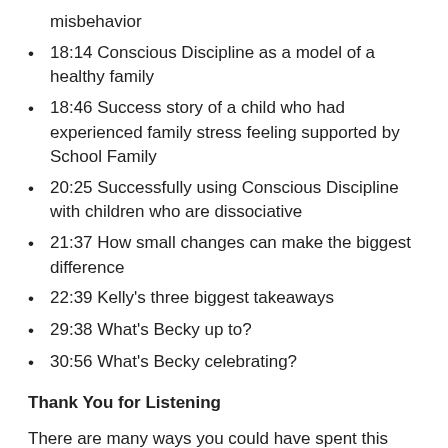misbehavior
18:14 Conscious Discipline as a model of a healthy family
18:46 Success story of a child who had experienced family stress feeling supported by School Family
20:25 Successfully using Conscious Discipline with children who are dissociative
21:37 How small changes can make the biggest difference
22:39 Kelly's three biggest takeaways
29:38 What's Becky up to?
30:56 What's Becky celebrating?
Thank You for Listening
There are many ways you could have spent this time today, but you chose to spend it with me and I am grateful. If you enjoyed today's show, please share it with others via your favorite social media platforms.
Also, would you consider taking 60-seconds to leave an honest